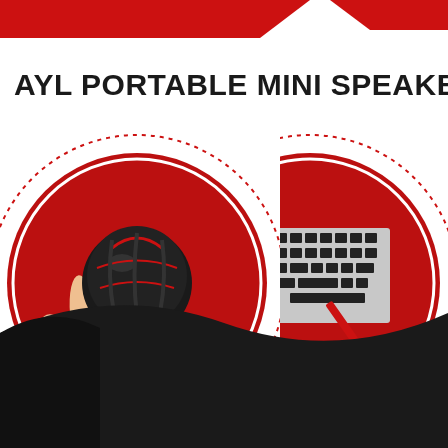[Figure (infographic): Top red diagonal banner/stripe decoration with white background]
AYL PORTABLE MINI SPEAKER S
[Figure (photo): Left circle: dotted border circle containing a red filled circle with a photo of a black ball-shaped portable mini speaker sitting in a human hand]
[Figure (photo): Right circle: dotted border circle containing a photo of a laptop keyboard corner]
[Figure (illustration): Bottom black wavy/curved decorative shape with red accent on left side]